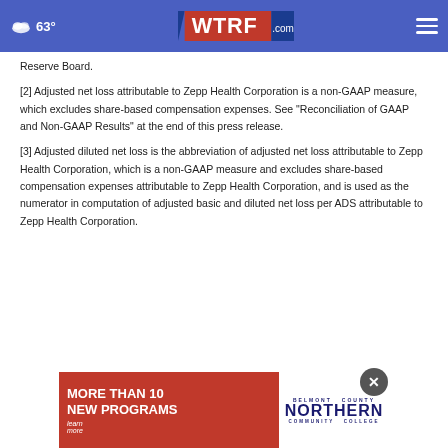63° WTRF.com
Reserve Board.
[2] Adjusted net loss attributable to Zepp Health Corporation is a non-GAAP measure, which excludes share-based compensation expenses. See "Reconciliation of GAAP and Non-GAAP Results" at the end of this press release.
[3] Adjusted diluted net loss is the abbreviation of adjusted net loss attributable to Zepp Health Corporation, which is a non-GAAP measure and excludes share-based compensation expenses attributable to Zepp Health Corporation, and is used as the numerator in computation of adjusted basic and diluted net loss per ADS attributable to Zepp Health Corporation.
[Figure (advertisement): Red advertisement banner reading MORE THAN 10 NEW PROGRAMS with Northern Community College logo]